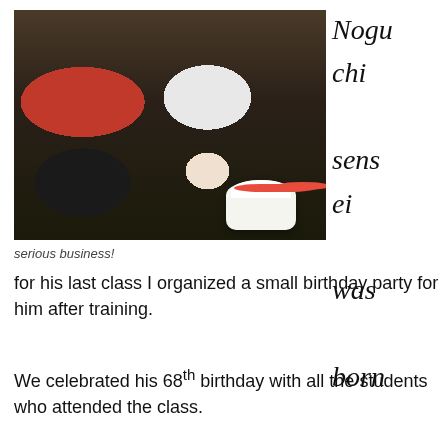[Figure (photo): Two men in a martial arts dojo, one in a red shirt holding a bottle, the other in a white shirt holding a white birthday cake with strawberries.]
serious business!
Noguchi sensei was born on the 6th of August so for his last class I organized a small birthday party for him after training.
We celebrated his 68th birthday with all the students who attended the class.